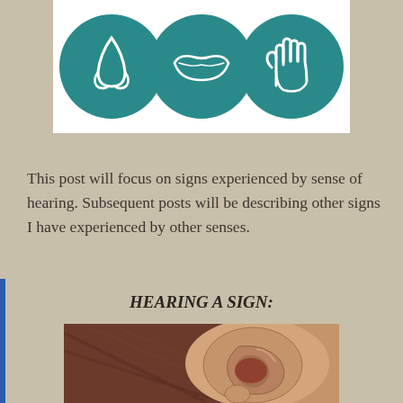[Figure (illustration): Three teal circular icons on white background showing facial senses: nose (smell), lips/mouth (taste), and hand (touch)]
This post will focus on signs experienced by sense of hearing. Subsequent posts will be describing other signs I have experienced by other senses.
HEARING A SIGN:
[Figure (photo): Close-up photo of a human ear with brown hair, showing the side profile of a person's head focused on the ear]